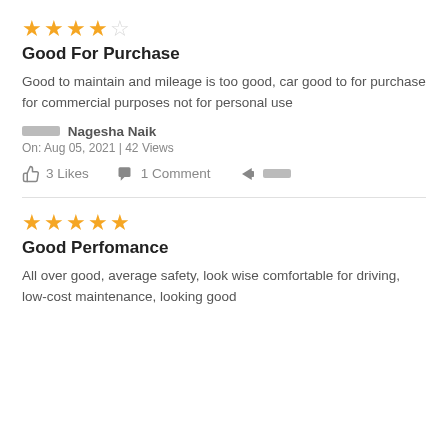★★★★☆ (3.5 out of 5 stars)
Good For Purchase
Good to maintain and mileage is too good, car good to for purchase for commercial purposes not for personal use
Nagesha Naik
On: Aug 05, 2021 | 42 Views
3 Likes   1 Comment   Share
★★★★★ (5 out of 5 stars)
Good Perfomance
All over good, average safety, look wise comfortable for driving, low-cost maintenance, looking good